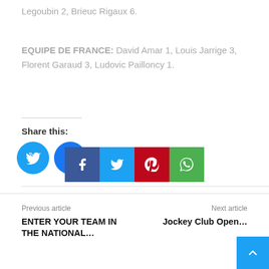Legoubin 2, Brieuc Rigaux 6.
EQUIPE DE FRANCE: David Amar 1, Louis Jarrige 3, Florent Garaud 3, Ludovic Pailloncy 1.
Share this:
[Figure (infographic): Twitter and Facebook circular share buttons in blue]
[Figure (infographic): Row of four square social share buttons: Facebook (dark blue), Twitter (light blue), Pinterest (red), WhatsApp (green)]
Previous article
ENTER YOUR TEAM IN THE NATIONAL...
Next article
Jockey Club Open...